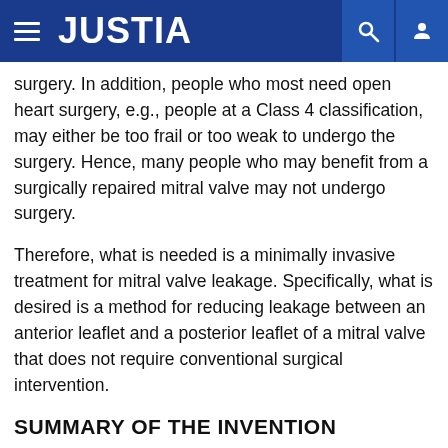JUSTIA
surgery. In addition, people who most need open heart surgery, e.g., people at a Class 4 classification, may either be too frail or too weak to undergo the surgery. Hence, many people who may benefit from a surgically repaired mitral valve may not undergo surgery.
Therefore, what is needed is a minimally invasive treatment for mitral valve leakage. Specifically, what is desired is a method for reducing leakage between an anterior leaflet and a posterior leaflet of a mitral valve that does not require conventional surgical intervention.
SUMMARY OF THE INVENTION
The present invention relates to a non-invasive method of performing annuloplasty. According to one aspect of the present invention, a method for performing a procedure on a mitral valve of a heart includes inserting